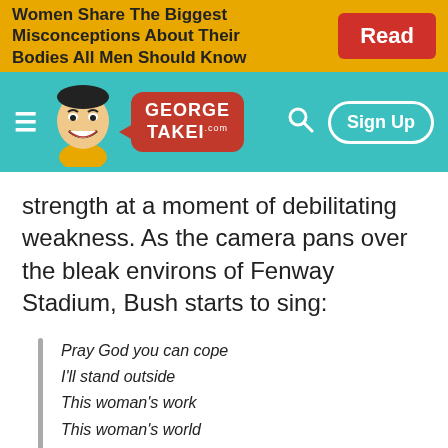[Figure (screenshot): Ad banner: 'Women Share The Biggest Misconceptions About Their Bodies All Men Should Know' with a red 'Read' button on a yellow/gold background]
[Figure (screenshot): George Takei website navigation bar with teal background, George Takei cartoon character, red logo bubble with 'GEORGE TAKEI .com', hamburger menu, search icon, and 'Sign Up' button]
strength at a moment of debilitating weakness. As the camera pans over the bleak environs of Fenway Stadium, Bush starts to sing:
Pray God you can cope
I'll stand outside
This woman's work
This woman's world
Ooooh it's hard on a man
Now his part is over
Now starts the craft of the FatherI know you've got a little life in you left
I know you've got a lot of strength left
I know you've got a little life in you yet
I know you've got a lot of strength left